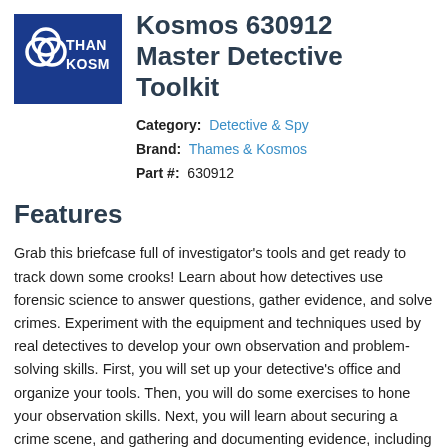[Figure (logo): Thames & Kosmos logo: blue rectangle with overlapping circles icon and text THAMES KOSMOS in white]
Kosmos 630912 Master Detective Toolkit
Category: Detective & Spy
Brand: Thames & Kosmos
Part #: 630912
Features
Grab this briefcase full of investigator's tools and get ready to track down some crooks! Learn about how detectives use forensic science to answer questions, gather evidence, and solve crimes. Experiment with the equipment and techniques used by real detectives to develop your own observation and problem-solving skills. First, you will set up your detective's office and organize your tools. Then, you will do some exercises to hone your observation skills. Next, you will learn about securing a crime scene, and gathering and documenting evidence, including fingerprints, footprints, and tire tracks. After you have gathered evidence, such as hair and fibers, counterfeit currency, and soil samples, you will head back to the lab to learn about